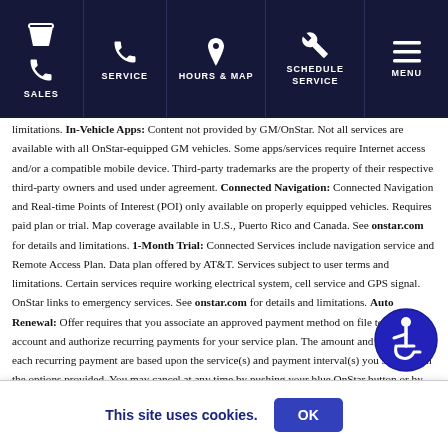SALES | SERVICE | HOURS & MAP | SCHEDULE SERVICE | MENU
limitations. In-Vehicle Apps: Content not provided by GM/OnStar. Not all services are available with all OnStar-equipped GM vehicles. Some apps/services require Internet access and/or a compatible mobile device. Third-party trademarks are the property of their respective third-party owners and used under agreement. Connected Navigation: Connected Navigation and Real-time Points of Interest (POI) only available on properly equipped vehicles. Requires paid plan or trial. Map coverage available in U.S., Puerto Rico and Canada. See onstar.com for details and limitations. 1-Month Trial: Connected Services include navigation service and Remote Access Plan. Data plan offered by AT&T. Services subject to user terms and limitations. Certain services require working electrical system, cell service and GPS signal. OnStar links to emergency services. See onstar.com for details and limitations. Auto Renewal: Offer requires that you associate an approved payment method on file to your account and authorize recurring payments for your service plan. The amount and frequency of each recurring payment are based upon the service(s) and payment interval(s) you select from the options provided. You may cancel at any time by pushing your blue OnStar button or by calling
[Figure (illustration): Accessibility icon — blue circle with white wheelchair user symbol]
This site uses cookies.
OK